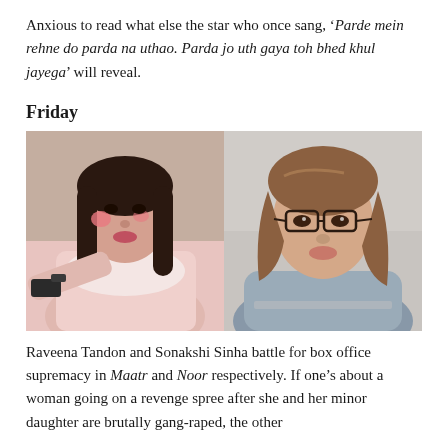Anxious to read what else the star who once sang, ‘Parde mein rehne do parda na uthao. Parda jo uth gaya toh bhed khul jayega’ will reveal.
Friday
[Figure (photo): Two side-by-side photos: left shows Raveena Tandon holding a gun with pink marks on her face wearing a pink outfit; right shows Sonakshi Sinha wearing glasses looking sideways.]
Raveena Tandon and Sonakshi Sinha battle for box office supremacy in Maatr and Noor respectively. If one’s about a woman going on a revenge spree after she and her minor daughter are brutally gang-raped, the other